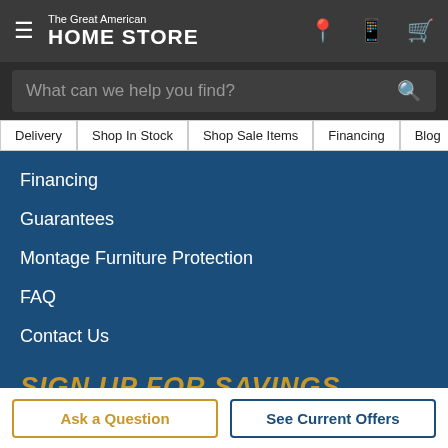The Great American HOME STORE
What can we help you find?
Delivery
Shop In Stock
Shop Sale Items
Financing
Blog
Financing
Guarantees
Montage Furniture Protection
FAQ
Contact Us
SIGN UP FOR SAVINGS
Be the first to hear about our special offers and exclusive...
Ask a Question
See Current Offers